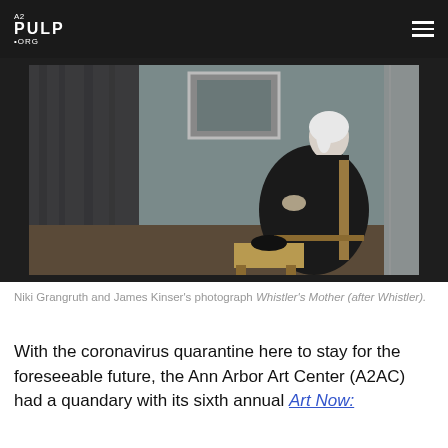A2 PULP ORG
[Figure (photo): A photograph titled 'Whistler's Mother (after Whistler)' by Niki Grangruth and James Kinser, showing a figure dressed in black seated in a chair, posed in the style of Whistler's famous painting, with a curtain on the left and a framed picture on the wall behind.]
Niki Grangruth and James Kinser's photograph Whistler's Mother (after Whistler).
With the coronavirus quarantine here to stay for the foreseeable future, the Ann Arbor Art Center (A2AC) had a quandary with its sixth annual Art Now: